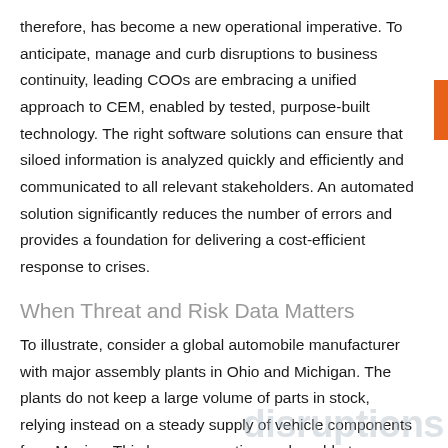therefore, has become a new operational imperative. To anticipate, manage and curb disruptions to business continuity, leading COOs are embracing a unified approach to CEM, enabled by tested, purpose-built technology. The right software solutions can ensure that siloed information is analyzed quickly and efficiently and communicated to all relevant stakeholders. An automated solution significantly reduces the number of errors and provides a foundation for delivering a cost-efficient response to crises.
When Threat and Risk Data Matters
To illustrate, consider a global automobile manufacturer with major assembly plants in Ohio and Michigan. The plants do not keep a large volume of parts in stock, relying instead on a steady supply of vehicle components from Mexico. This leaves operations vulnerable to even minor supply chain disruptions